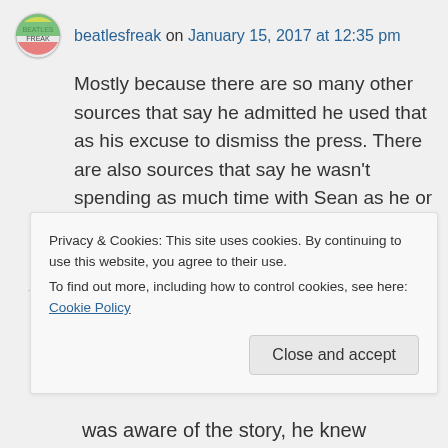beatlesfreak on January 15, 2017 at 12:35 pm
Mostly because there are so many other sources that say he admitted he used that as his excuse to dismiss the press. There are also sources that say he wasn't spending as much time with Sean as he or Rosaura claim.
↳ Reply
Privacy & Cookies: This site uses cookies. By continuing to use this website, you agree to their use.
To find out more, including how to control cookies, see here: Cookie Policy
Close and accept
was aware of the story, he knew